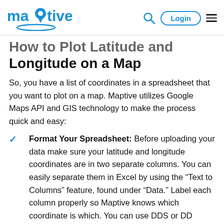maptive | Login
How to Plot Latitude and Longitude on a Map
So, you have a list of coordinates in a spreadsheet that you want to plot on a map. Maptive utilizes Google Maps API and GIS technology to make the process quick and easy:
Format Your Spreadsheet: Before uploading your data make sure your latitude and longitude coordinates are in two separate columns. You can easily separate them in Excel by using the “Text to Columns” feature, found under “Data.” Label each column properly so Maptive knows which coordinate is which. You can use DDS or DD format for the coordinates